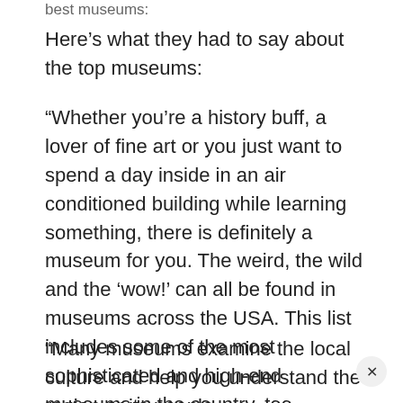best museums:
Here’s what they had to say about the top museums:
“Whether you’re a history buff, a lover of fine art or you just want to spend a day inside in an air conditioned building while learning something, there is definitely a museum for you. The weird, the wild and the ‘wow!’ can all be found in museums across the USA. This list includes some of the most sophisticated and high-end museums in the country, too.
“Many museums examine the local culture and help you understand the region or its people.